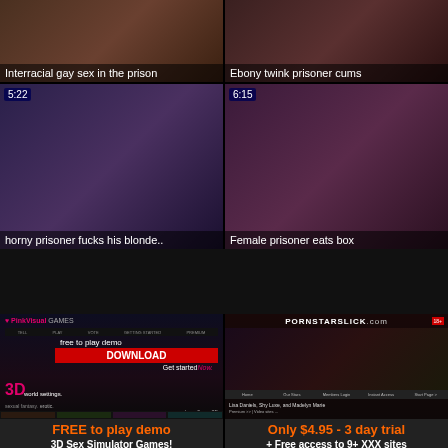[Figure (screenshot): Thumbnail: Interracial gay sex in the prison]
[Figure (screenshot): Thumbnail: Ebony twink prisoner cums]
[Figure (screenshot): Thumbnail 5:22 - horny prisoner fucks his blonde..]
[Figure (screenshot): Thumbnail 6:15 - Female prisoner eats box]
[Figure (screenshot): Ad screenshot: PinkVisual - FREE to play demo - 3D Sex Simulator Games!]
[Figure (screenshot): Ad screenshot: PornStarLick - Only $4.95 - 3 day trial + Free access to 9+ XXX sites]